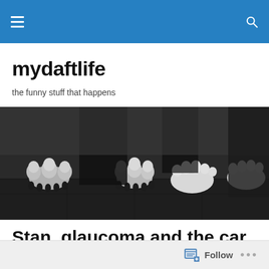mydaftlife — navigation bar with hamburger menu and search icon
mydaftlife
the funny stuff that happens
[Figure (photo): Black and white close-up photo of dog paws and bare human feet side by side on a dark floor]
Stan, glaucoma and the car key
Follow  •••